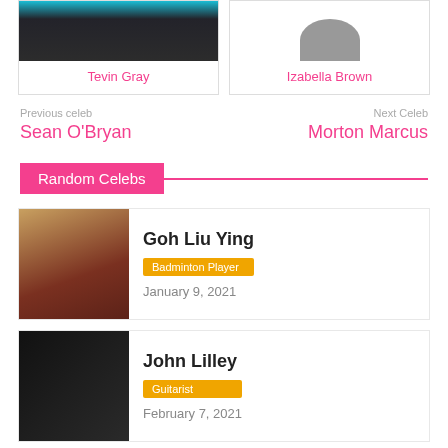[Figure (photo): Partial photo of Tevin Gray (top portion cropped)]
Tevin Gray
[Figure (photo): Partial silhouette/photo of Izabella Brown (gray oval shape)]
Izabella Brown
Previous celeb
Sean O'Bryan
Next Celeb
Morton Marcus
Random Celebs
[Figure (photo): Photo of Goh Liu Ying, a badminton player]
Goh Liu Ying
Badminton Player
January 9, 2021
[Figure (photo): Photo of John Lilley, a guitarist playing guitar on stage]
John Lilley
Guitarist
February 7, 2021